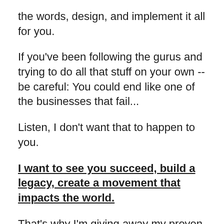the words, design, and implement it all for you.
If you've been following the gurus and trying to do all that stuff on your own -- be careful: You could end like one of the businesses that fail...
Listen, I don't want that to happen to you.
I want to see you succeed, build a legacy, create a movement that impacts the world.
That's why I'm giving away my proven